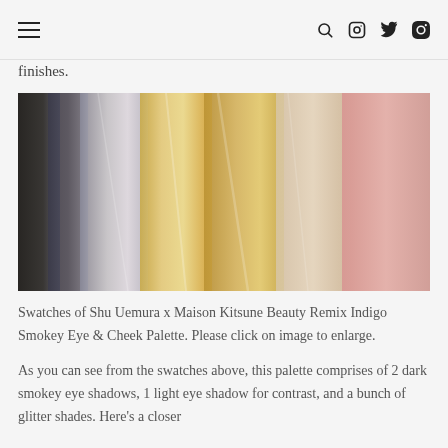≡  🔍 📷 🐦 𝕡
finishes.
[Figure (photo): Swatches of eyeshadow shades from the Shu Uemura x Maison Kitsune Beauty Remix Indigo Smokey Eye & Cheek Palette, showing dark smokey, silver/grey, golden glitter, and pink shimmer shades swatched on skin.]
Swatches of Shu Uemura x Maison Kitsune Beauty Remix Indigo Smokey Eye & Cheek Palette. Please click on image to enlarge.
As you can see from the swatches above, this palette comprises of 2 dark smokey eye shadows, 1 light eye shadow for contrast, and a bunch of glitter shades. Here's a closer